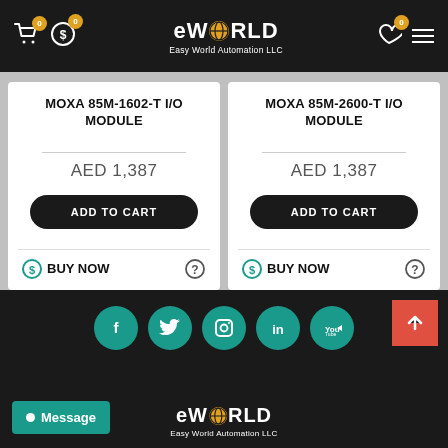eWORLD Easy World Automation LLC - navigation header with cart, wishlist, and menu icons
MOXA 85M-1602-T I/O MODULE
AED 1,387
MOXA 85M-2600-T I/O MODULE
AED 1,387
[Figure (other): Carousel pagination dots - 4 dots with first one active/filled]
Social media icons: Facebook, Twitter, Instagram, LinkedIn, YouTube. eWORLD Easy World Automation LLC logo. Message button.